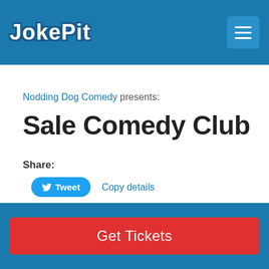JokePit
Nodding Dog Comedy presents:
Sale Comedy Club
Share:
Tweet  Copy details
StandUp Comedy At Sale FC!
Welcome to the stage...
Get Tickets